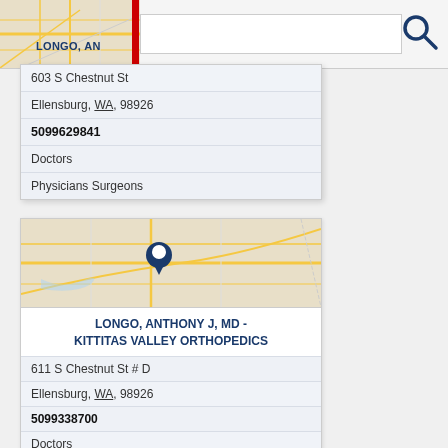[Figure (screenshot): Top navigation bar with partial map, red vertical bar, search input box, and search icon]
LONGO, AN
603 S Chestnut St
Ellensburg, WA, 98926
5099629841
Doctors
Physicians Surgeons
[Figure (map): Street map with blue location pin marker centered over Ellensburg WA area]
LONGO, ANTHONY J, MD - KITTITAS VALLEY ORTHOPEDICS
611 S Chestnut St # D
Ellensburg, WA, 98926
5099338700
Doctors
Medical Clinics
Ob Gyn
Obgyn
Orthopedic Doctors